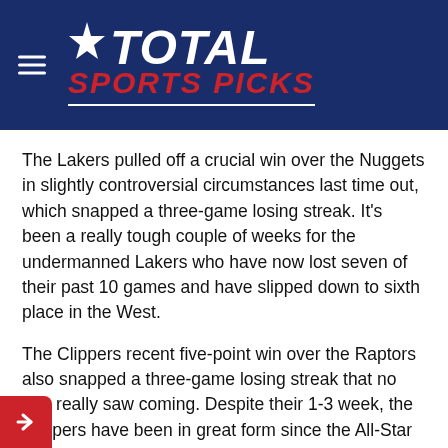[Figure (logo): Total Sports Picks logo on dark blue background with hamburger menu icon on the left. Star symbol followed by TOTAL in white italic bold text, SPORTS PICKS in red italic bold text below, with white underline.]
The Lakers pulled off a crucial win over the Nuggets in slightly controversial circumstances last time out, which snapped a three-game losing streak. It's been a really tough couple of weeks for the undermanned Lakers who have now lost seven of their past 10 games and have slipped down to sixth place in the West.
The Clippers recent five-point win over the Raptors also snapped a three-game losing streak that no one really saw coming. Despite their 1-3 week, the Clippers have been in great form since the All-Star break and are finally starting to get a good run at it injury-wise, which hasn't been the case all season